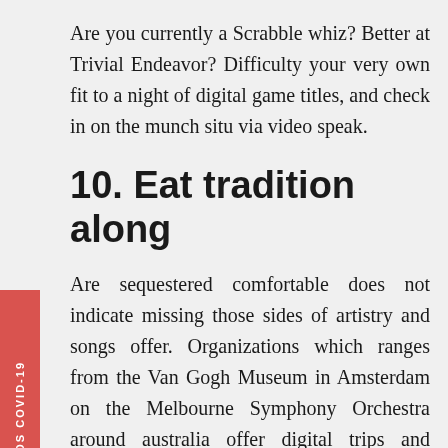Are you currently a Scrabble whiz? Better at Trivial Endeavor? Difficulty your very own fit to a night of digital game titles, and check in on the munch situ via video speak.
10. Eat tradition along
Are sequestered comfortable does not indicate missing those sides of artistry and songs offer. Organizations which ranges from the Van Gogh Museum in Amsterdam on the Melbourne Symphony Orchestra around australia offer digital trips and shows. If that's not their form of a lot of fun, New England tank offers multimedia check outs. If you can't connect over newly born baby